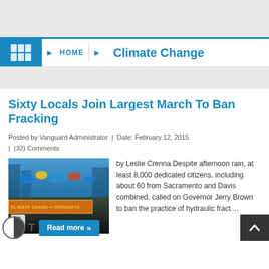HOME > Climate Change
Sixty Locals Join Largest March To Ban Fracking
Posted by Vanguard Administrator  |  Date: February 12, 2015  |  (32) Comments
[Figure (photo): Crowd of protesters at a march to ban fracking, with a banner reading CLIMATE CHAOS DROUGHTS]
by Leslie Crenna Despite afternoon rain, at least 8,000 dedicated citizens, including about 60 from Sacramento and Davis combined, called on Governor Jerry Brown to ban the practice of hydraulic fract ...